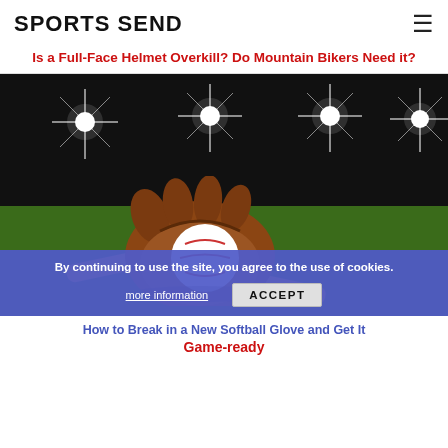SPORTS SEND
Is a Full-Face Helmet Overkill? Do Mountain Bikers Need it?
[Figure (photo): Baseball glove with a baseball inside it and a wooden bat on green grass, with four bright stadium lights in the background against a dark sky.]
By continuing to use the site, you agree to the use of cookies.
more information   ACCEPT
How to Break in a New Softball Glove and Get It Game-ready